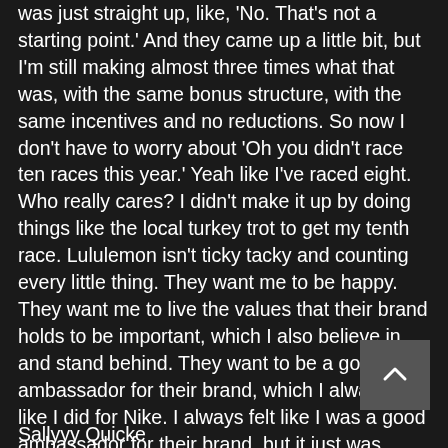was just straight up, like, 'No. That's not a starting point.' And they came up a little bit, but I'm still making almost three times what that was, with the same bonus structure, with the same incentives and no reductions. So now I don't have to worry about 'Oh you didn't race ten races this year.' Yeah like I've raced eight. Who really cares? I didn't make it up by doing things like the local turkey trot to get my tenth race. Lululemon isn't ticky tacky and counting every little thing. They want me to be happy. They want me to live the values that their brand holds to be important, which I also believe in and stand behind. They want to be a good ambassador for their brand, which I always felt like I did for Nike. I always felt like I was a good ambassador for their brand, but it just was never enough."
Sallyyy Quicke...